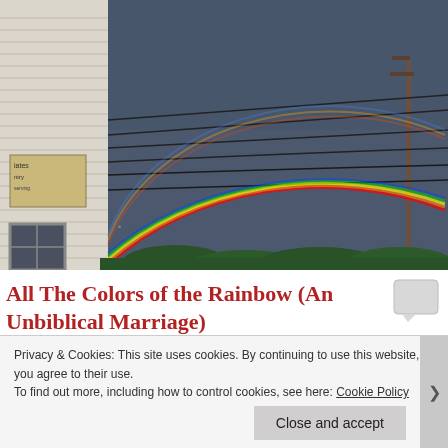[Figure (photo): Photograph of a double rainbow in a dark stormy sky, with a white wooden building/siding on the left, power lines crossing the sky, and green trees at the bottom.]
All The Colors of the Rainbow (An Unbiblical Marriage)
My husband and I have been married for 15 1/2 years.  We
Privacy & Cookies: This site uses cookies. By continuing to use this website, you agree to their use.
To find out more, including how to control cookies, see here: Cookie Policy
Close and accept